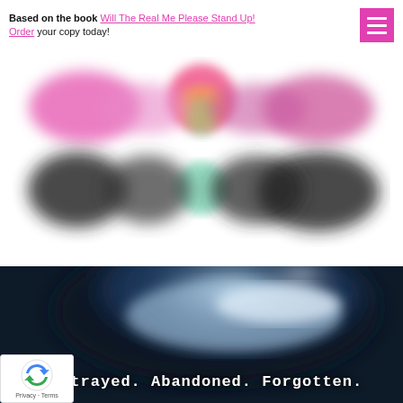Based on the book Will The Real Me Please Stand Up! Order your copy today!
[Figure (logo): Blurred colorful logo — 'Real Me Please' style script text in pink/grey tones with a figure/heart motif in the center, arranged in two rows]
[Figure (photo): Dark moody banner image with blurred shiny/metallic object on dark background. White bold text overlay reads '...trayed. Abandoned. Forgotten.']
trayed. Abandoned. Forgotten.